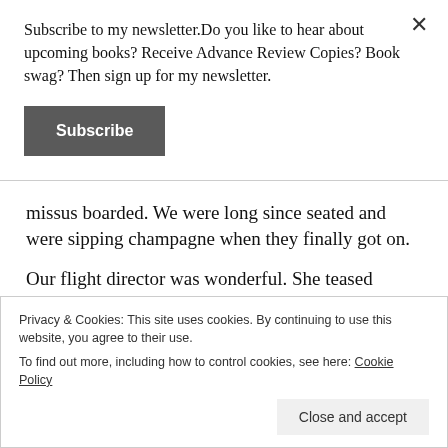Subscribe to my newsletter.Do you like to hear about upcoming books? Receive Advance Review Copies? Book swag? Then sign up for my newsletter.
[Figure (other): Subscribe button — dark gray rectangular button with white bold text 'Subscribe']
missus boarded. We were long since seated and were sipping champagne when they finally got on.
Our flight director was wonderful. She teased hubby (after telling him he couldn't use his headphones until we were in the
Privacy & Cookies: This site uses cookies. By continuing to use this website, you agree to their use.
To find out more, including how to control cookies, see here: Cookie Policy
Close and accept
ground when the pilot braked hard and put the engines in